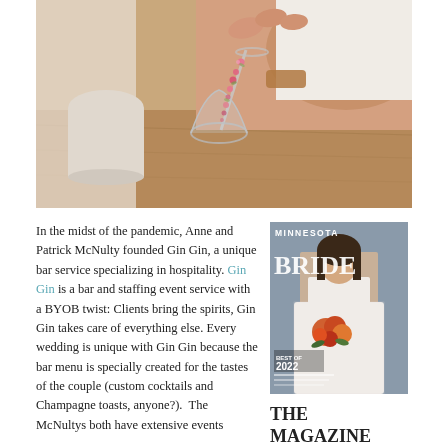[Figure (photo): A hand holding an upside-down champagne glass by its stem, with small pink flowers trailing down, resting on a wooden surface. A white garment or fabric is visible in the background.]
In the midst of the pandemic, Anne and Patrick McNulty founded Gin Gin, a unique bar service specializing in hospitality. Gin Gin is a bar and staffing event service with a BYOB twist: Clients bring the spirits, Gin Gin takes care of everything else. Every wedding is unique with Gin Gin because the bar menu is specially created for the tastes of the couple (custom cocktails and Champagne toasts, anyone?). The McNultys both have extensive events
[Figure (photo): Cover of Minnesota Bride magazine, Best of 2022 issue, featuring a bride in a white lace gown holding a bouquet of orange and red flowers.]
THE MAGAZINE Current Issue